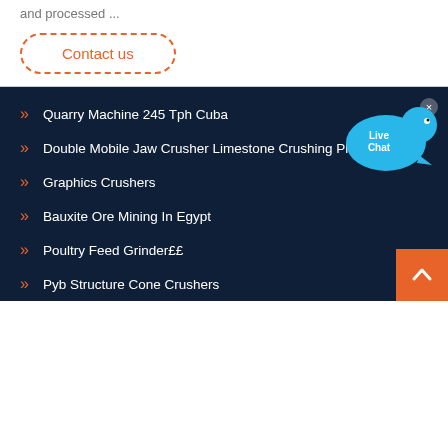and processed ...
Contact us
Quarry Machine 245 Tph Cuba
Double Mobile Jaw Crusher Limestone Crushing Plant
Graphics Crushers
Bauxite Ore Mining In Egypt
Poultry Feed Grinder££
Pyb Structure Cone Crushers